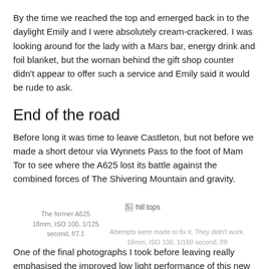By the time we reached the top and emerged back in to the daylight Emily and I were absolutely cream-crackered. I was looking around for the lady with a Mars bar, energy drink and foil blanket, but the woman behind the gift shop counter didn't appear to offer such a service and Emily said it would be rude to ask.
End of the road
Before long it was time to leave Castleton, but not before we made a short detour via Wynnets Pass to the foot of Mam Tor to see where the A625 lost its battle against the combined forces of The Shivering Mountain and gravity.
The former A625
18mm, ISO 100, 1/125 second, f/7.1
[Figure (photo): hill tops photo placeholder]
Attempts were made to fix it. They didn't work.
18mm, ISO 100, 1/160 second, f/8
One of the final photographs I took before leaving really emphasised the improved low light performance of this new breed